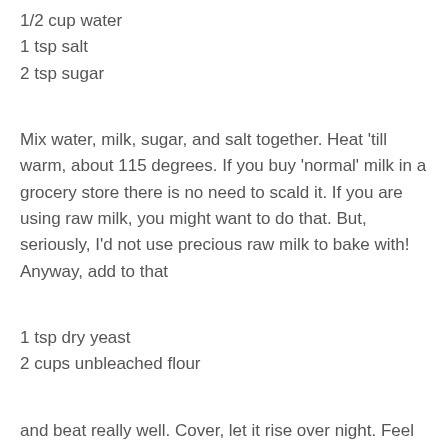1/2 cup water
1 tsp salt
2 tsp sugar
Mix water, milk, sugar, and salt together. Heat 'till warm, about 115 degrees. If you buy 'normal' milk in a grocery store there is no need to scald it. If you are using raw milk, you might want to do that. But, seriously, I'd not use precious raw milk to bake with! Anyway, add to that
1 tsp dry yeast
2 cups unbleached flour
and beat really well. Cover, let it rise over night. Feel free to mix it from time to time if you'd like. The long, slow rise will give it extra flavor, in my never humble opinion.
Next morning, add 2 tbs of melted butter, and another one to